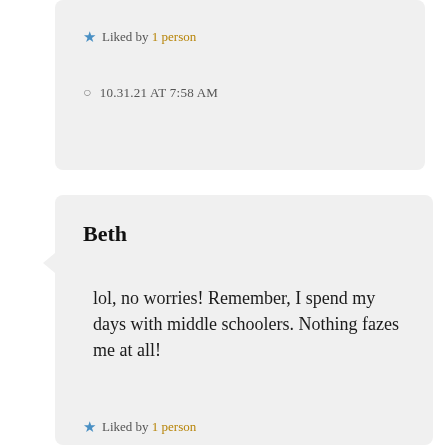★ Liked by 1 person
🕐 10.31.21 AT 7:58 AM
Beth
lol, no worries! Remember, I spend my days with middle schoolers. Nothing fazes me at all!
★ Liked by 1 person